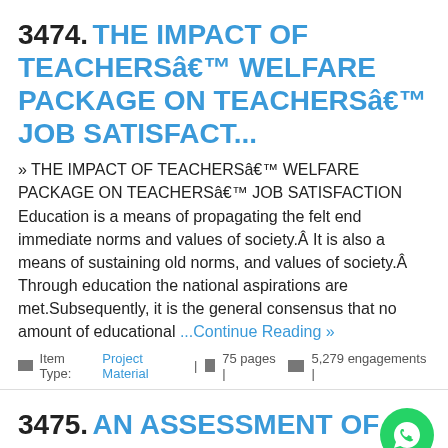3474. THE IMPACT OF TEACHERSâ€™ WELFARE PACKAGE ON TEACHERSâ€™ JOB SATISFACT...
» THE IMPACT OF TEACHERSâ€™ WELFARE PACKAGE ON TEACHERSâ€™ JOB SATISFACTION Education is a means of propagating the felt end immediate norms and values of society.Â It is also a means of sustaining old norms, and values of society.Â Through education the national aspirations are met.Subsequently, it is the general consensus that no amount of educational ... Continue Reading »
Item Type: Project Material | 75 pages | 5,279 engagements |
3475. AN ASSESSMENT OF GOVERNMENT INVOLVEMENT IN